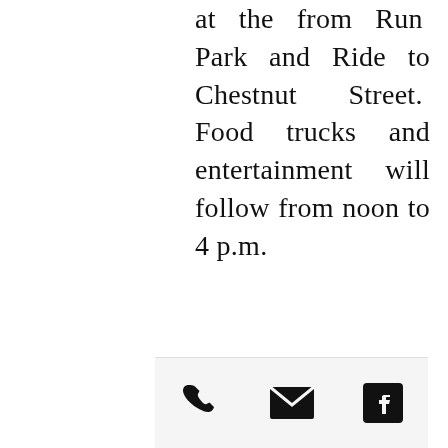at the from Run Park and Ride to Chestnut Street. Food trucks and entertainment will follow from noon to 4 p.m.
[phone icon] [email icon] [facebook icon]